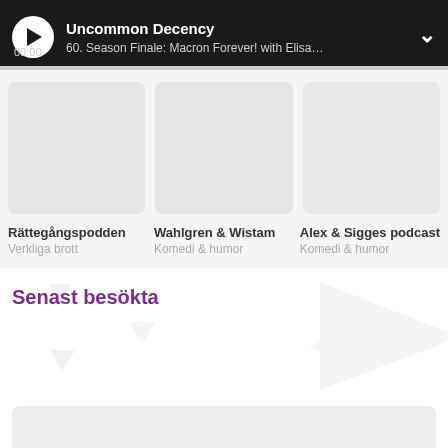Uncommon Decency | 60. Season Finale: Macron Forever! with Elisabeth Ze...
[Figure (screenshot): Three podcast cover thumbnails in a row: Rättegångspodden, Wahlgren & Wistam, Alex & Sigges podcast]
Rättegångspodden
Verkliga brott
Wahlgren & Wistam
Komedi & humor
Alex & Sigges podcast
Komedi & humor
Senast besökta
[Figure (screenshot): Bottom card area partially visible, light grey background]